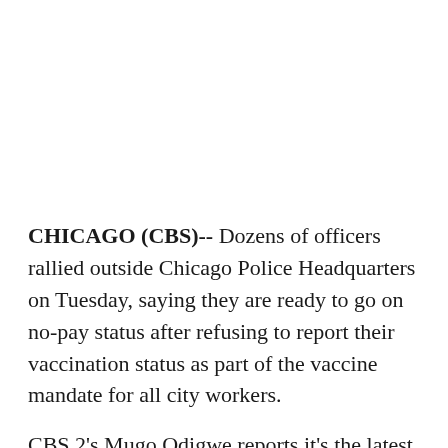CHICAGO (CBS)-- Dozens of officers rallied outside Chicago Police Headquarters on Tuesday, saying they are ready to go on no-pay status after refusing to report their vaccination status as part of the vaccine mandate for all city workers.
CBS 2's Mugo Odigwe reports it's the latest salvo in the battle between the city's police unions and Mayor Lori Lightfoot.